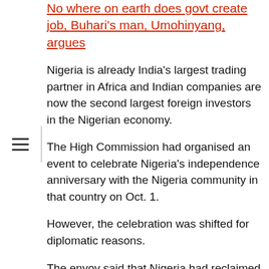No where on earth does govt create job, Buhari's man, Umohinyang, argues
Nigeria is already India's largest trading partner in Africa and Indian companies are now the second largest foreign investors in the Nigerian economy.
The High Commission had organised an event to celebrate Nigeria's independence anniversary with the Nigeria community in that country on Oct. 1.
However, the celebration was shifted for diplomatic reasons.
The envoy said that Nigeria had reclaimed its position as the largest economy in Africa after the recession that she suffered in 2016 due to the collapse of oil prices.
“That reclamation is largely due to President Buhari reforms which among other successes increased our foreign reserves, restored macro- economic stability,